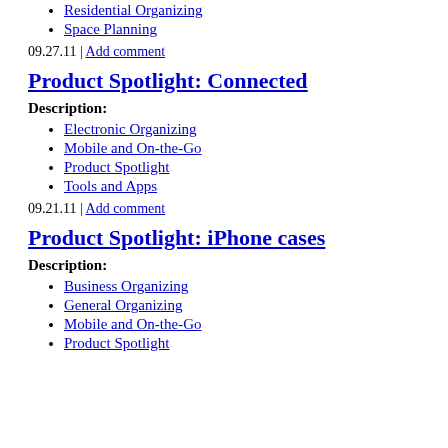Residential Organizing
Space Planning
09.27.11 | Add comment
Product Spotlight: Connected
Description:
Electronic Organizing
Mobile and On-the-Go
Product Spotlight
Tools and Apps
09.21.11 | Add comment
Product Spotlight: iPhone cases
Description:
Business Organizing
General Organizing
Mobile and On-the-Go
Product Spotlight